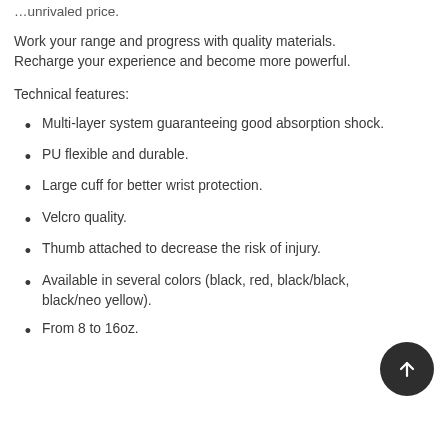…unrivaled price.
Work your range and progress with quality materials. Recharge your experience and become more powerful.
Technical features:
Multi-layer system guaranteeing good absorption shock.
PU flexible and durable.
Large cuff for better wrist protection.
Velcro quality.
Thumb attached to decrease the risk of injury.
Available in several colors (black, red, black/black, black/neo yellow).
From 8 to 16oz.
[Figure (other): Dark circular button with upward arrow icon (back-to-top button)]